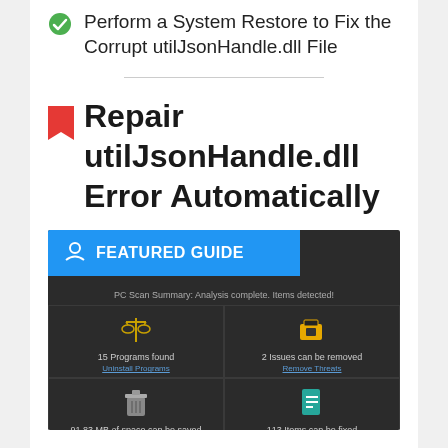Perform a System Restore to Fix the Corrupt utilJsonHandle.dll File
Repair utilJsonHandle.dll Error Automatically
[Figure (screenshot): A dark-themed PC scan summary screen showing a featured guide banner in blue. The screen displays: 15 Programs found, 2 Issues can be removed, 91.83 MB of space can be saved, 113 Items can be fixed.]